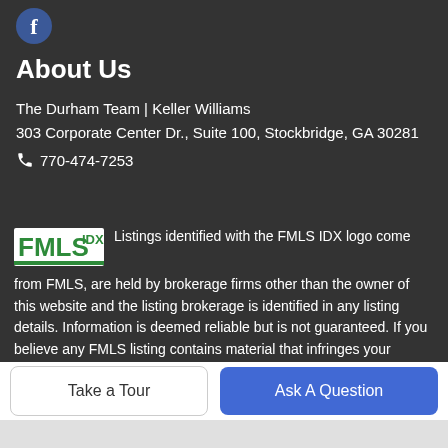[Figure (logo): Facebook circular icon, blue background with white 'f']
About Us
The Durham Team | Keller Williams
303 Corporate Center Dr., Suite 100, Stockbridge, GA 30281
📞 770-474-7253
[Figure (logo): FMLS IDX logo — green letters on white background]
Listings identified with the FMLS IDX logo come from FMLS, are held by brokerage firms other than the owner of this website and the listing brokerage is identified in any listing details. Information is deemed reliable but is not guaranteed. If you believe any FMLS listing contains material that infringes your copyrighted work, please click here to review our DMCA policy and learn how to submit a takedown request. © 2022 First Multiple Listing Service, Inc. Data last updated 2022-09-01T00:06:41.453.
For issues regarding this website, please contact us. For IDX
Take a Tour
Ask A Question